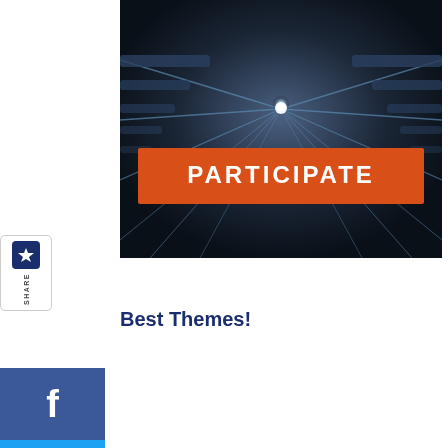[Figure (photo): Dark tunnel/corridor with blue light lines and a bright point of light at the end, with an orange banner reading PARTICIPATE]
[Figure (infographic): Social share sidebar with icons for Facebook, Twitter, LinkedIn, Pinterest, Reddit, and Mix]
Best Themes!